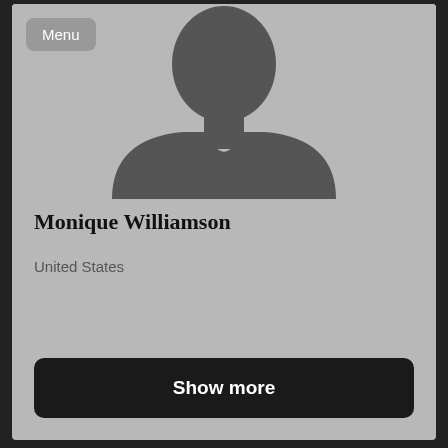[Figure (illustration): Default gray silhouette avatar placeholder showing a person's head and shoulders]
Monique Williamson
United States
Show more